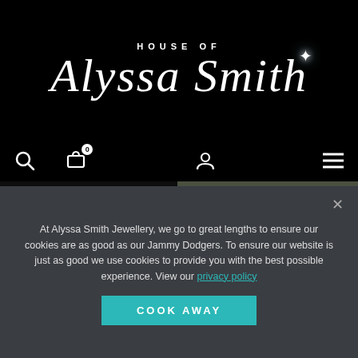HOUSE OF
Alyssa Smith
[Figure (screenshot): Navigation bar with search icon, shopping bag icon with badge 0, user/account icon, and hamburger menu icon on black background]
[Figure (photo): Sparkly Spanner Charm in Sterling Silver – Clear Crystal: dark photo of a silver spanner wrench on black background]
[Figure (photo): Silverstone Sterling Silver Studs: close-up blurred photo of dark metallic studs]
Sparkly Spanner Charm in Sterling Silver – Clear Crystal
Silverstone Sterling Silver Studs
At Alyssa Smith Jewellery, we go to great lengths to ensure our cookies are as good as our Jammy Dodgers. To ensure our website is just as good we use cookies to provide you with the best possible experience. View our privacy policy
COOK AWAY